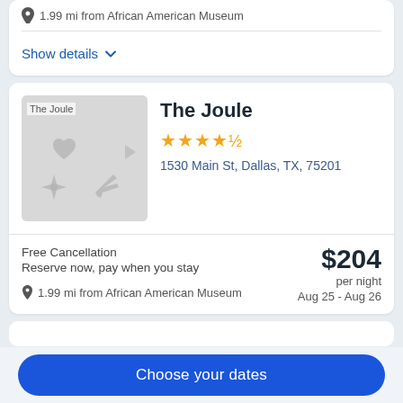1.99 mi from African American Museum
Show details
[Figure (photo): Hotel image placeholder for The Joule with travel icons]
The Joule
★★★★½
1530 Main St, Dallas, TX, 75201
Free Cancellation
Reserve now, pay when you stay
1.99 mi from African American Museum
$204 per night Aug 25 - Aug 26
Choose your dates